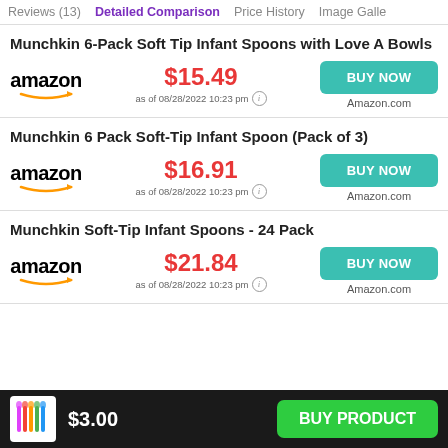Reviews (13)   Detailed Comparison   Price History   Image Gallery
Munchkin 6-Pack Soft Tip Infant Spoons with Love A Bowls
$15.49 as of 08/28/2022 10:23 pm — BUY NOW — Amazon.com
Munchkin 6 Pack Soft-Tip Infant Spoon (Pack of 3)
$16.91 as of 08/28/2022 10:23 pm — BUY NOW — Amazon.com
Munchkin Soft-Tip Infant Spoons - 24 Pack
$21.84 as of 08/28/2022 10:23 pm — BUY NOW — Amazon.com
$3.00 — BUY PRODUCT